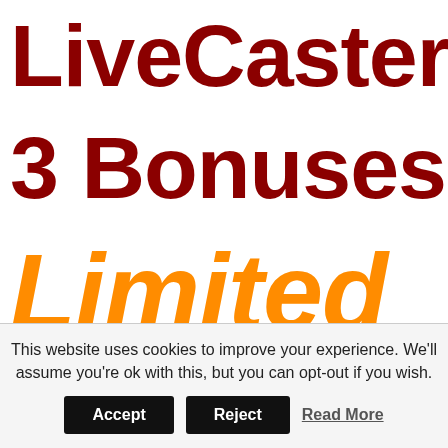LiveCaster
3 Bonuses
Limited
This website uses cookies to improve your experience. We'll assume you're ok with this, but you can opt-out if you wish.
Accept   Reject   Read More